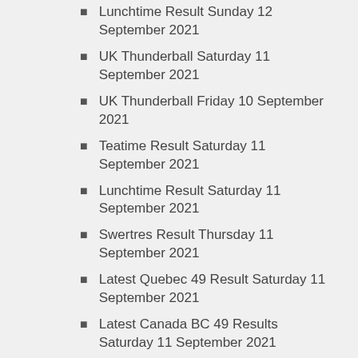Lunchtime Result Sunday 12 September 2021
UK Thunderball Saturday 11 September 2021
UK Thunderball Friday 10 September 2021
Teatime Result Saturday 11 September 2021
Lunchtime Result Saturday 11 September 2021
Swertres Result Thursday 11 September 2021
Latest Quebec 49 Result Saturday 11 September 2021
Latest Canada BC 49 Results Saturday 11 September 2021
US Powerball Result Saturday 11 September 2021
Latest New York Take 5 Result Friday